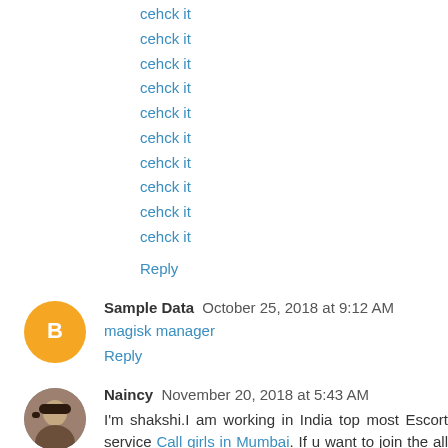cehck it
cehck it
cehck it
cehck it
cehck it
cehck it
cehck it
cehck it
cehck it
cehck it
Reply
Sample Data  October 25, 2018 at 9:12 AM
magisk manager
Reply
Naincy  November 20, 2018 at 5:43 AM
I'm shakshi.I am working in India top most Escort service Call girls in Mumbai. If u want to join the all facility of